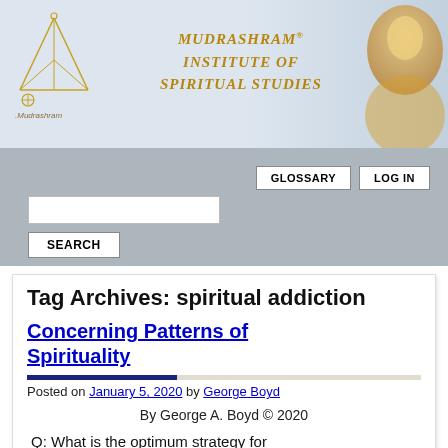[Figure (logo): Mudrashram Institute of Spiritual Studies header banner with pyramid logo on left, golden italic text title in center, and woman in yellow clothing on right]
MUDRASHRAM® INSTITUTE OF SPIRITUAL STUDIES
[Figure (screenshot): Navigation bar with Glossary and Log In buttons and a Search input field with Search button]
Tag Archives: spiritual addiction
Concerning Patterns of Spirituality
Posted on January 5, 2020 by George Boyd
By George A. Boyd © 2020
Q: What is the optimum strategy for